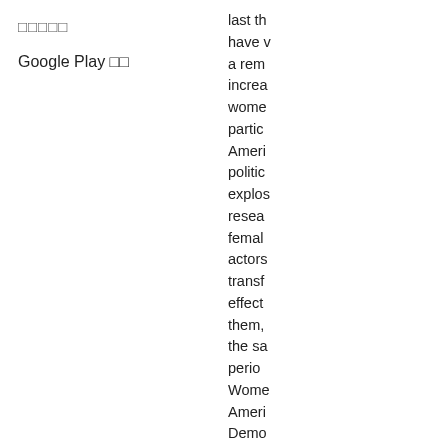□□□□□
Google Play □□
last th have v a rem increa wome partic Ameri politic explos resea femal actors transf effect them, the sa perio Wome Ameri Demo provic critica synth